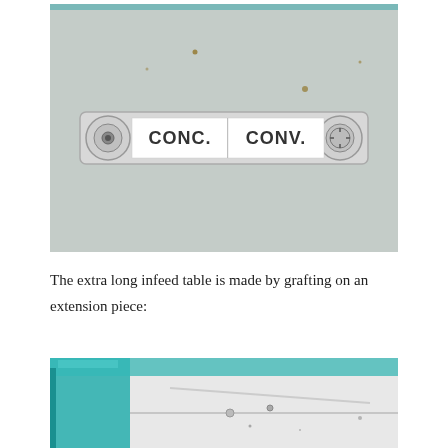[Figure (photo): Close-up photo of a machine label/selector showing 'CONC.' and 'CONV.' text on a metal panel with two circular knobs/bolts on each end.]
The extra long infeed table is made by grafting on an extension piece:
[Figure (photo): Partial photo showing a teal/turquoise colored machine component, likely the infeed table extension piece, with some mechanical parts visible.]